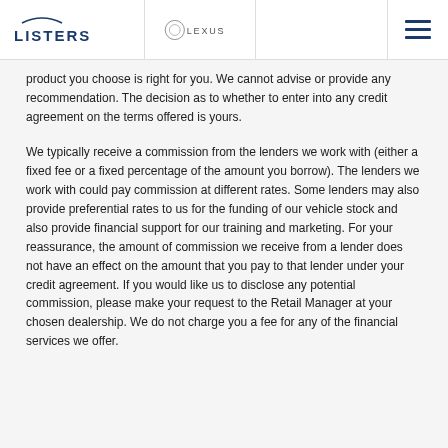LISTERS | LEXUS
product you choose is right for you. We cannot advise or provide any recommendation. The decision as to whether to enter into any credit agreement on the terms offered is yours.
We typically receive a commission from the lenders we work with (either a fixed fee or a fixed percentage of the amount you borrow). The lenders we work with could pay commission at different rates. Some lenders may also provide preferential rates to us for the funding of our vehicle stock and also provide financial support for our training and marketing. For your reassurance, the amount of commission we receive from a lender does not have an effect on the amount that you pay to that lender under your credit agreement. If you would like us to disclose any potential commission, please make your request to the Retail Manager at your chosen dealership. We do not charge you a fee for any of the financial services we offer.